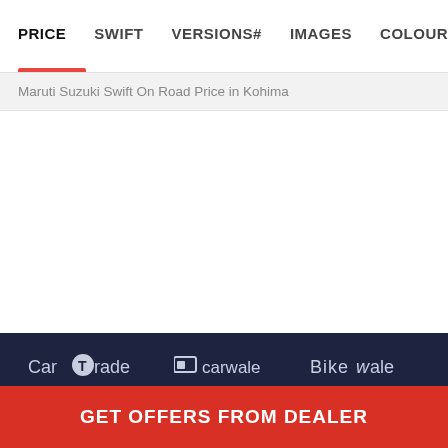PRICE | SWIFT | VERSIONS# | IMAGES | COLOURS | MILEAGE
Maruti Suzuki Swift On Road Price in Kohima
[Figure (logo): Brand logos section on dark navy background: CarTrade, carwale, BikeWale, Mobility Outlook, carwale OtSure]
GET OFFERS FROM DEALER